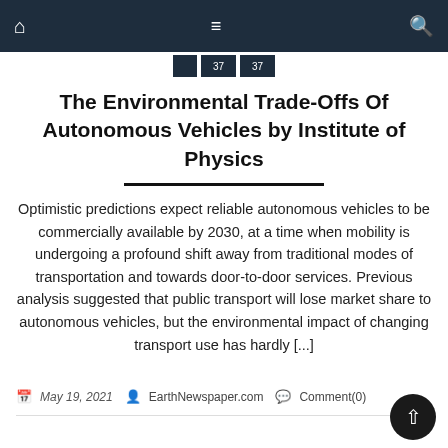Navigation bar with home, menu, and search icons
The Environmental Trade-Offs Of Autonomous Vehicles by Institute of Physics
Optimistic predictions expect reliable autonomous vehicles to be commercially available by 2030, at a time when mobility is undergoing a profound shift away from traditional modes of transportation and towards door-to-door services. Previous analysis suggested that public transport will lose market share to autonomous vehicles, but the environmental impact of changing transport use has hardly [...]
May 19, 2021  EarthNewspaper.com  Comment(0)